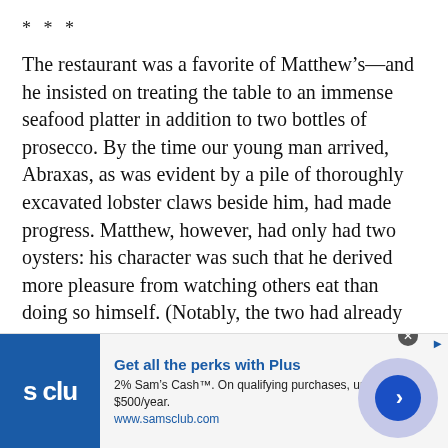* * *
The restaurant was a favorite of Matthew’s—and he insisted on treating the table to an immense seafood platter in addition to two bottles of prosecco. By the time our young man arrived, Abraxas, as was evident by a pile of thoroughly excavated lobster claws beside him, had made progress. Matthew, however, had only had two oysters: his character was such that he derived more pleasure from watching others eat than doing so himself. (Notably, the two had already begun without our young man because they knew he was habitually—and hopelessly—unpunctual and, at any rate, would not mind.) Our young man sat down and began to exchange pleasantries. But
[Figure (screenshot): Advertisement banner for Sam's Club Plus membership. Blue logo with 's clu' text on the left. Headline: 'Get all the perks with Plus'. Body: '2% Sam’s Cash™. On qualifying purchases, up to $500/year.' URL: www.samsclub.com. Circle with blue arrow button on the right.]